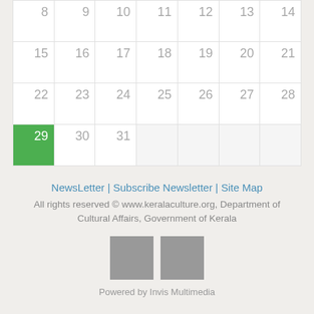| 8 | 9 | 10 | 11 | 12 | 13 | 14 |
| 15 | 16 | 17 | 18 | 19 | 20 | 21 |
| 22 | 23 | 24 | 25 | 26 | 27 | 28 |
| 29 | 30 | 31 |  |  |  |  |
NewsLetter | Subscribe Newsletter | Site Map
All rights reserved © www.keralaculture.org, Department of Cultural Affairs, Government of Kerala
[Figure (logo): Two gray logo/badge boxes side by side]
Powered by Invis Multimedia